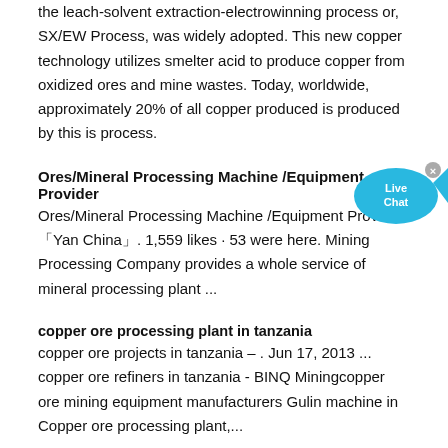the leach-solvent extraction-electrowinning process or, SX/EW Process, was widely adopted. This new copper technology utilizes smelter acid to produce copper from oxidized ores and mine wastes. Today, worldwide, approximately 20% of all copper produced is produced by this is process.
Ores/Mineral Processing Machine /Equipment Provider
Ores/Mineral Processing Machine /Equipment Provider, 「Yan China」. 1,559 likes · 53 were here. Mining Processing Company provides a whole service of mineral processing plant ...
copper ore processing plant in tanzania
copper ore projects in tanzania – . Jun 17, 2013 ... copper ore refiners in tanzania - BINQ Miningcopper ore mining equipment manufacturers Gulin machine in Copper ore processing plant,...
Mining Business Plan
· The following document outlines a mining business proposal to desig